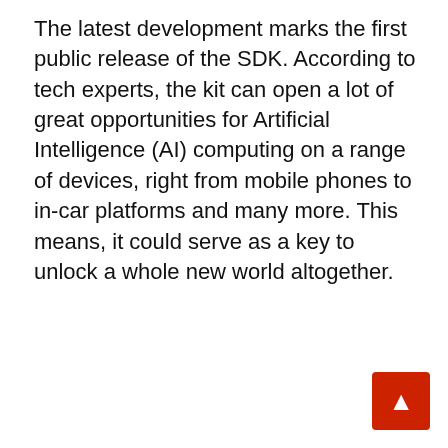The latest development marks the first public release of the SDK. According to tech experts, the kit can open a lot of great opportunities for Artificial Intelligence (AI) computing on a range of devices, right from mobile phones to in-car platforms and many more. This means, it could serve as a key to unlock a whole new world altogether.
ALSO READ : World's Biggest Virtual Global Fintech Fest saw Participation from Over 12000 attendees from over 110 countries